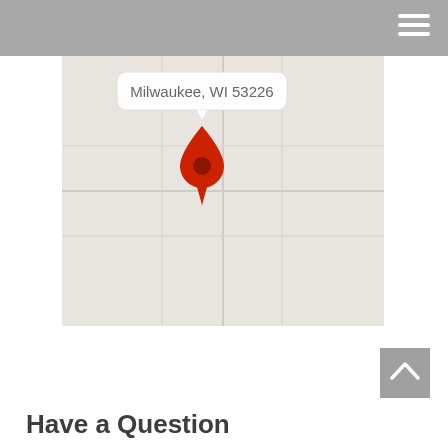[Figure (map): Google Maps screenshot showing a location pin at Milwaukee, WI 53226 with a callout label above the pin on a light beige map background.]
Have a Question